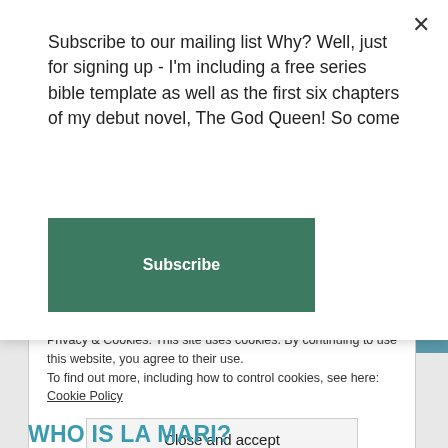Subscribe to our mailing list Why? Well, just for signing up - I'm including a free series bible template as well as the first six chapters of my debut novel, The God Queen! So come
Subscribe
NOTIFY ME OF NEW COMMENTS VIA EMAIL.
NOTIFY ME OF NEW POSTS VIA EMAIL.
Privacy & Cookies: This site uses cookies. By continuing to use this website, you agree to their use.
To find out more, including how to control cookies, see here: Cookie Policy
Close and accept
WHO IS LA MARI?